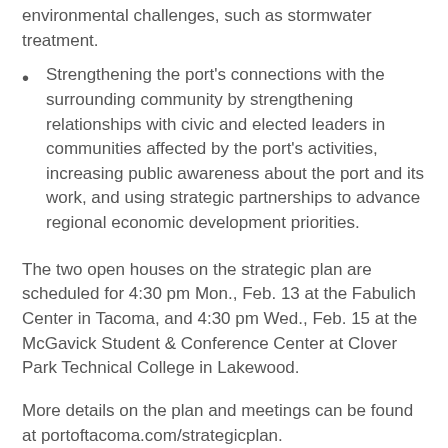environmental challenges, such as stormwater treatment.
Strengthening the port's connections with the surrounding community by strengthening relationships with civic and elected leaders in communities affected by the port's activities, increasing public awareness about the port and its work, and using strategic partnerships to advance regional economic development priorities.
The two open houses on the strategic plan are scheduled for 4:30 pm Mon., Feb. 13 at the Fabulich Center in Tacoma, and 4:30 pm Wed., Feb. 15 at the McGavick Student & Conference Center at Clover Park Technical College in Lakewood.
More details on the plan and meetings can be found at portoftacoma.com/strategicplan.
The Port of Tacoma Commission is expected to adopt the plan in March.